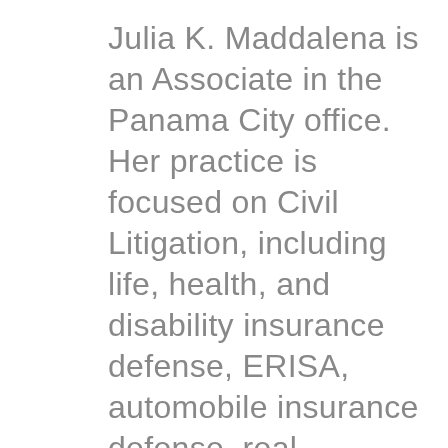Julia K. Maddalena is an Associate in the Panama City office. Her practice is focused on Civil Litigation, including life, health, and disability insurance defense, ERISA, automobile insurance defense, real property, employment law and commercial business litigation. She also represents a number of Homeowner and Condominium Community Associations as general counsel and assists City Attorneys in the Firm with...